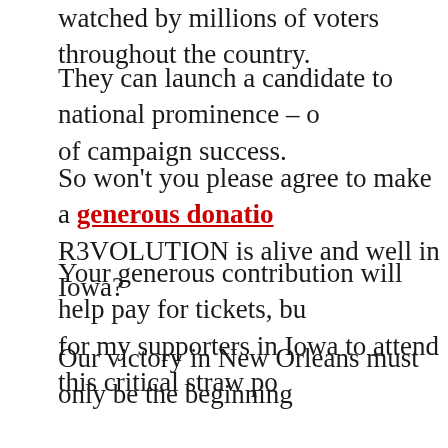watched by millions of voters throughout the country.
They can launch a candidate to national prominence – o of campaign success.
So won't you please agree to make a generous donation R3VOLUTION is alive and well in Iowa?
Your generous contribution will help pay for tickets, bu for my supporters in Iowa to attend this critical straw po
Our victory in New Orleans must only be the beginning
The Iowa Straw Poll is the MOST important straw poll
That's why it's absolutely vital that our campaign have a
So please, help me shake the establishment up even mo most generous contribution TODAY!